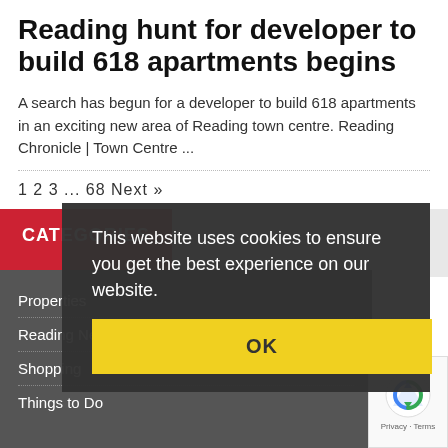Reading hunt for developer to build 618 apartments begins
A search has begun for a developer to build 618 apartments in an exciting new area of Reading town centre. Reading Chronicle | Town Centre ...
1 2 3 ... 68 Next »
CATEGORIES
Properties
Reading News
Shopping
Things to Do
This website uses cookies to ensure you get the best experience on our website.
OK
Privacy · Terms